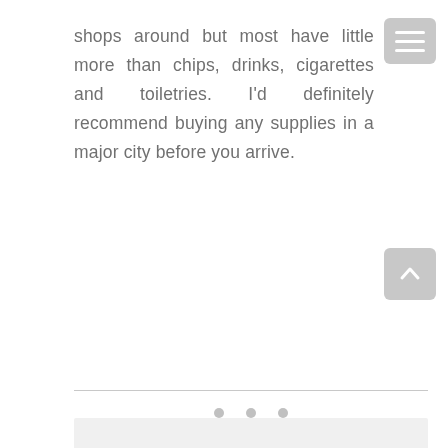shops around but most have little more than chips, drinks, cigarettes and toiletries. I'd definitely recommend buying any supplies in a major city before you arrive.
[Figure (screenshot): A light grey rectangular image placeholder with three small grey dots near the bottom center, and UI overlay buttons (hamburger menu top right, scroll-to-top bottom right)]